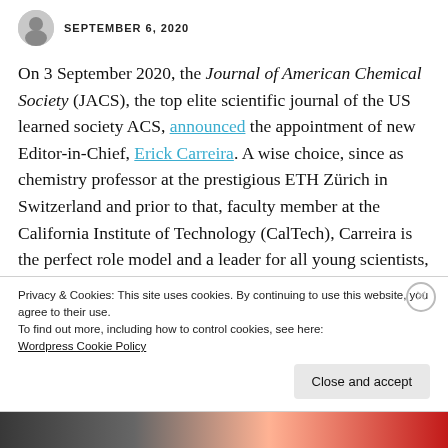SEPTEMBER 6, 2020
On 3 September 2020, the Journal of American Chemical Society (JACS), the top elite scientific journal of the US learned society ACS, announced the appointment of new Editor-in-Chief, Erick Carreira. A wise choice, since as chemistry professor at the prestigious ETH Zürich in Switzerland and prior to that, faculty member at the California Institute of Technology (CalTech), Carreira is the perfect role model and a leader for all young scientists, someone
Privacy & Cookies: This site uses cookies. By continuing to use this website, you agree to their use.
To find out more, including how to control cookies, see here:
Wordpress Cookie Policy
Close and accept